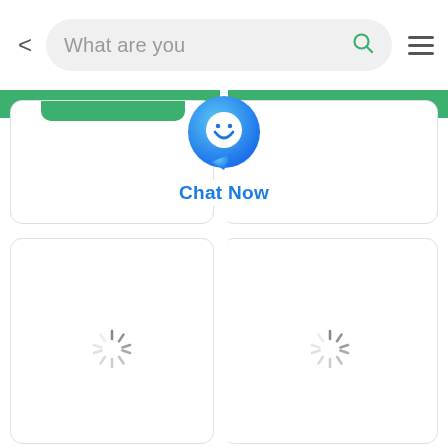[Figure (screenshot): Mobile app screenshot showing a search bar at top with back arrow, a green banner below, a grid of white cards partially loading, and a 'Chat Now' floating button with a blue chat bubble icon centered on screen. Two loading spinner icons visible in the bottom card area.]